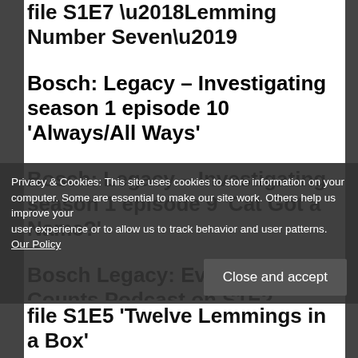file S1E7 ‘Lemming Number Seven’
Bosch: Legacy – Investigating season 1 episode 10 ‘Always/All Ways’
Bosch: Legacy – Investigating season 1 episode 9 ‘Cat Got a Name?’
Bosch Legacy: Everybody Counts Podcast on S1E2 ‘Pumped’
Privacy & Cookies: This site uses cookies to store information on your computer. Some are essential to make our site work. Others help us improve your user experience or to allow us to track behavior and user patterns. Our Policy
file S1E5 ‘Twelve Lemmings in a Box’